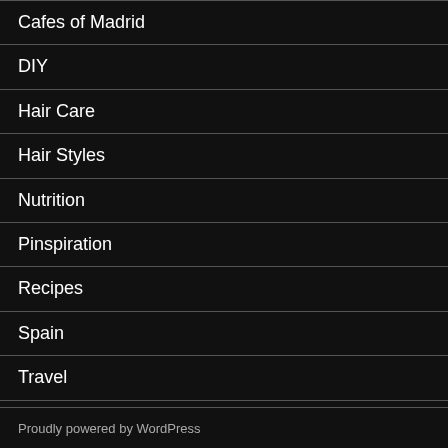Cafes of Madrid
DIY
Hair Care
Hair Styles
Nutrition
Pinspiration
Recipes
Spain
Travel
Uncategorized
Proudly powered by WordPress